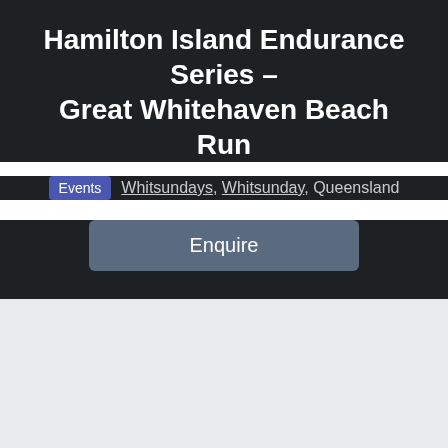Hamilton Island Endurance Series – Great Whitehaven Beach Run
Events   Whitsundays, Whitsunday, Queensland
Enquire
[Figure (other): Light grey empty content area below the header]